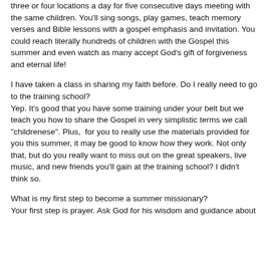three or four locations a day for five consecutive days meeting with the same children. You'll sing songs, play games, teach memory verses and Bible lessons with a gospel emphasis and invitation. You could reach literally hundreds of children with the Gospel this summer and even watch as many accept God's gift of forgiveness and eternal life!
I have taken a class in sharing my faith before. Do I really need to go to the training school?
Yep. It's good that you have some training under your belt but we teach you how to share the Gospel in very simplistic terms we call "childrenese". Plus, for you to really use the materials provided for you this summer, it may be good to know how they work. Not only that, but do you really want to miss out on the great speakers, live music, and new friends you'll gain at the training school? I didn't think so.
What is my first step to become a summer missionary?
Your first step is prayer. Ask God for his wisdom and guidance about